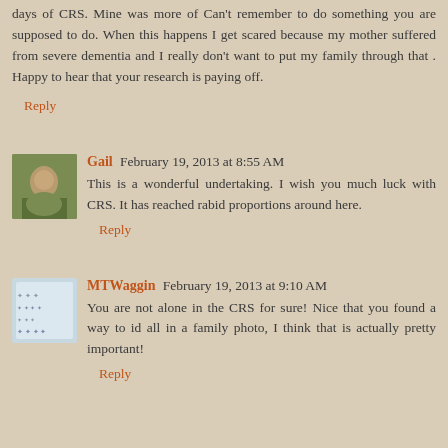days of CRS. Mine was more of Can't remember to do something you are supposed to do. When this happens I get scared because my mother suffered from severe dementia and I really don't want to put my family through that . Happy to hear that your research is paying off.
Reply
Gail  February 19, 2013 at 8:55 AM
This is a wonderful undertaking. I wish you much luck with CRS. It has reached rabid proportions around here.
Reply
MTWaggin  February 19, 2013 at 9:10 AM
You are not alone in the CRS for sure! Nice that you found a way to id all in a family photo, I think that is actually pretty important!
Reply